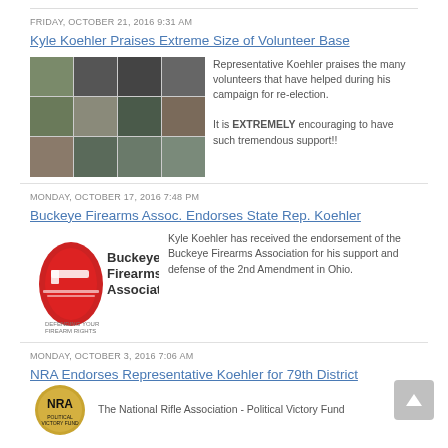FRIDAY, OCTOBER 21, 2016 9:31 AM
Kyle Koehler Praises Extreme Size of Volunteer Base
[Figure (photo): Photo collage of campaign volunteers]
Representative Koehler praises the many volunteers that have helped during his campaign for re-election. It is EXTREMELY encouraging to have such tremendous support!!
MONDAY, OCTOBER 17, 2016 7:48 PM
Buckeye Firearms Assoc. Endorses State Rep. Koehler
[Figure (logo): Buckeye Firearms Association logo with Ohio state outline and text]
Kyle Koehler has received the endorsement of the Buckeye Firearms Association for his support and defense of the 2nd Amendment in Ohio.
MONDAY, OCTOBER 3, 2016 7:06 AM
NRA Endorses Representative Koehler for 79th District
[Figure (logo): NRA logo circular emblem]
The National Rifle Association - Political Victory Fund